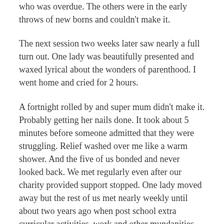who was overdue. The others were in the early throws of new borns and couldn't make it.
The next session two weeks later saw nearly a full turn out. One lady was beautifully presented and waxed lyrical about the wonders of parenthood. I went home and cried for 2 hours.
A fortnight rolled by and super mum didn't make it. Probably getting her nails done. It took about 5 minutes before someone admitted that they were struggling. Relief washed over me like a warm shower. And the five of us bonded and never looked back. We met regularly even after our charity provided support stopped. One lady moved away but the rest of us met nearly weekly until about two years ago when post school extra curricular activities, work and other mundanities precluded such regular meetings.